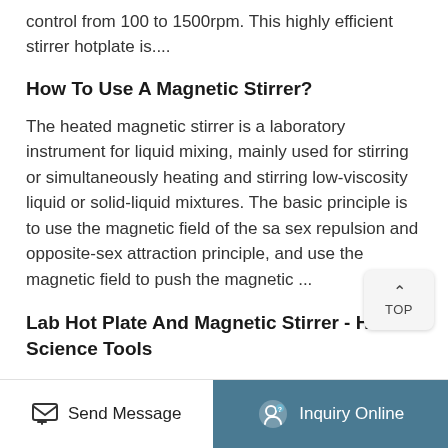control from 100 to 1500rpm. This highly efficient stirrer hotplate is....
How To Use A Magnetic Stirrer?
The heated magnetic stirrer is a laboratory instrument for liquid mixing, mainly used for stirring or simultaneously heating and stirring low-viscosity liquid or solid-liquid mixtures. The basic principle is to use the magnetic field of the sa sex repulsion and opposite-sex attraction principle, and use the magnetic field to push the magnetic ...
Lab Hot Plate And Magnetic Stirrer - Home Science Tools
The magnetic stirrer can be used with or without
[Figure (other): TOP navigation button with upward chevron arrow and the label TOP]
Send Message   Inquiry Online